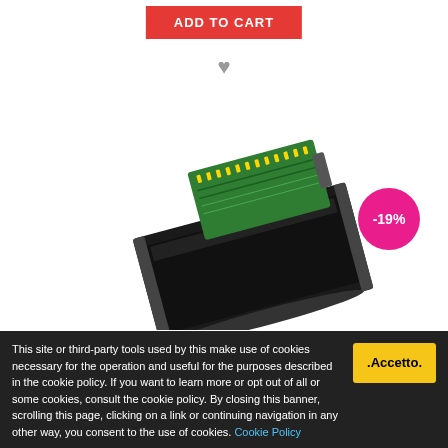ADD TO CART
[Figure (photo): Brother Belt Unit HL-3040CN/3070 product photo — a black transfer belt unit with green circuit board component, shown at an angle on white background. A pink circular badge showing -19% discount is overlaid in the top-right area.]
BROTHER BELT UNIT HL-3040CN/ 3070 50000 PAG
Unavailable
€ 111.00 € 137.25
This site or third-party tools used by this make use of cookies necessary for the operation and useful for the purposes described in the cookie policy. If you want to learn more or opt out of all or some cookies, consult the cookie policy. By closing this banner, scrolling this page, clicking on a link or continuing navigation in any other way, you consent to the use of cookies. Cookie Policy